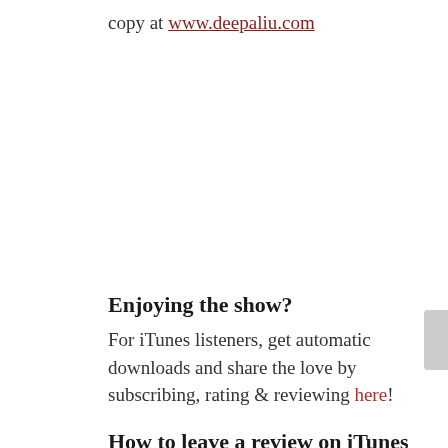copy at www.deepaliu.com
Enjoying the show?
For iTunes listeners, get automatic downloads and share the love by subscribing, rating & reviewing here!
How to leave a review on iTunes
1. Launch Apple's Podcast app.